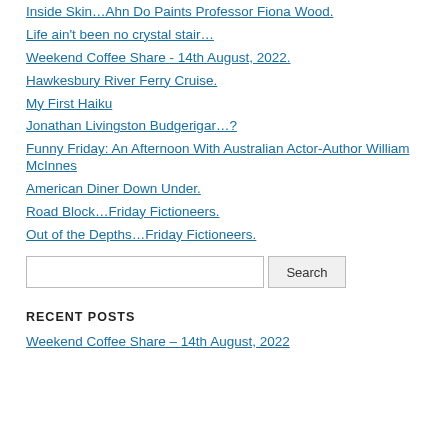Inside Skin…Ahn Do Paints Professor Fiona Wood.
Life ain't been no crystal stair…
Weekend Coffee Share - 14th August, 2022.
Hawkesbury River Ferry Cruise.
My First Haiku
Jonathan Livingston Budgerigar…?
Funny Friday: An Afternoon With Australian Actor-Author William McInnes
American Diner Down Under.
Road Block…Friday Fictioneers.
Out of the Depths…Friday Fictioneers.
Search
RECENT POSTS
Weekend Coffee Share – 14th August, 2022